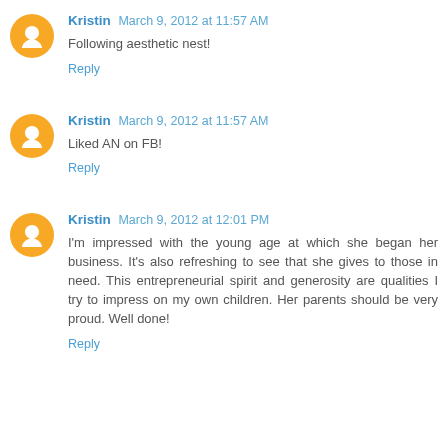Kristin March 9, 2012 at 11:57 AM
Following aesthetic nest!
Reply
Kristin March 9, 2012 at 11:57 AM
Liked AN on FB!
Reply
Kristin March 9, 2012 at 12:01 PM
I'm impressed with the young age at which she began her business. It's also refreshing to see that she gives to those in need. This entrepreneurial spirit and generosity are qualities I try to impress on my own children. Her parents should be very proud. Well done!
Reply